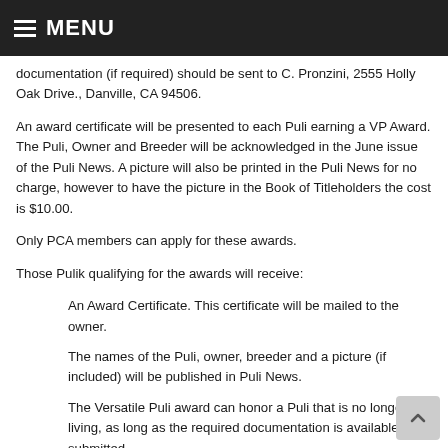MENU
documentation (if required) should be sent to C. Pronzini, 2555 Holly Oak Drive., Danville, CA 94506.
An award certificate will be presented to each Puli earning a VP Award. The Puli, Owner and Breeder will be acknowledged in the June issue of the Puli News. A picture will also be printed in the Puli News for no charge, however to have the picture in the Book of Titleholders the cost is $10.00.
Only PCA members can apply for these awards.
Those Pulik qualifying for the awards will receive:
An Award Certificate. This certificate will be mailed to the owner.
The names of the Puli, owner, breeder and a picture (if included) will be published in Puli News.
The Versatile Puli award can honor a Puli that is no longer living, as long as the required documentation is available and submitted.